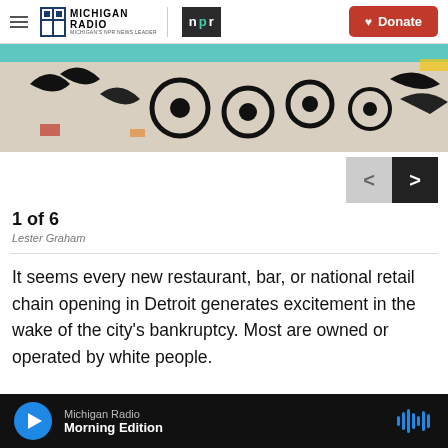Michigan Radio | NPR | Donate
[Figure (photo): Colorful mural on a building wall with circular motifs and painted figures on a brick background with teal trim]
1 of 6
Lester Graham
It seems every new restaurant, bar, or national retail chain opening in Detroit generates excitement in the wake of the city’s bankruptcy. Most are owned or operated by white people.
Michigan Radio | Morning Edition